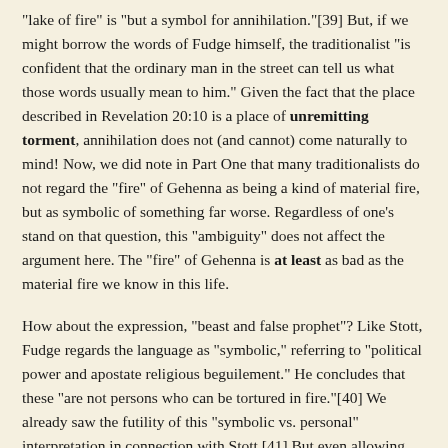"lake of fire" is "but a symbol for annihilation."[39] But, if we might borrow the words of Fudge himself, the traditionalist "is confident that the ordinary man in the street can tell us what those words usually mean to him." Given the fact that the place described in Revelation 20:10 is a place of unremitting torment, annihilation does not (and cannot) come naturally to mind! Now, we did note in Part One that many traditionalists do not regard the "fire" of Gehenna as being a kind of material fire, but as symbolic of something far worse. Regardless of one's stand on that question, this "ambiguity" does not affect the argument here. The "fire" of Gehenna is at least as bad as the material fire we know in this life.
How about the expression, "beast and false prophet"? Like Stott, Fudge regards the language as "symbolic," referring to "political power and apostate religious beguilement." He concludes that these "are not persons who can be tortured in fire."[40] We already saw the futility of this "symbolic vs. personal" interpretation in connection with Stott.[41] But even allowing that the beast and false prophet are neither individual people nor symbolic of individual people, one cannot escape the fact that the Devil is an individual and that he is tormented day and night, forever and ever. Here Fudge is on the ropes, and grudgingly admits, "There is no